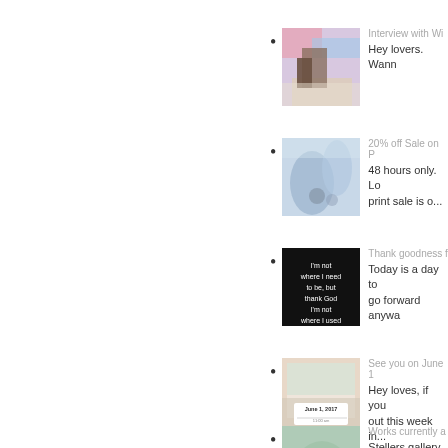Interview with Wi... | Hey lovers. Wann...
20% off Sale on P... | 48 hours only. Lo... print sale is o...
Thank goodness f... | Today is a day to... go forward anywa...
See you on June 1... | Hey loves, if you... out this week in...
Works currently a... | Stellers gallery al...